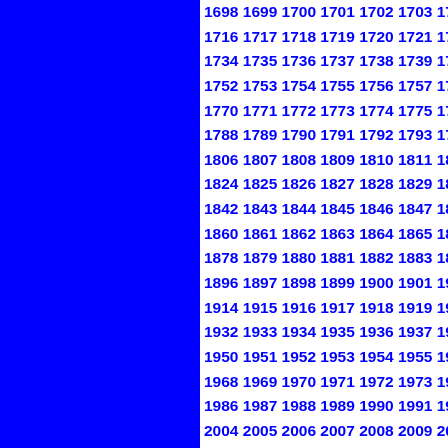[Figure (other): Left half of page is solid blue rectangle. Right half shows sequential numbers in bold blue text on white background, starting from 1698 and continuing through 2119+, arranged in rows of approximately 8-9 numbers per row, incrementing by 18 per row.]
1698 1699 1700 1701 1702 1703 1704 1705... 1716 1717 1718 1719 1720 1721 1722 1723... continuing through 2112 2113 2114 2115 2116 2117 2118 2119...